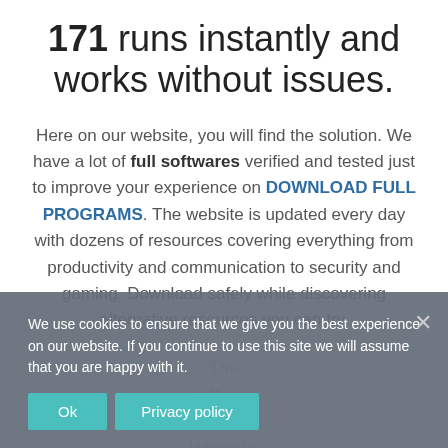171 runs instantly and works without issues.
Here on our website, you will find the solution. We have a lot of full softwares verified and tested just to improve your experience on DOWNLOAD FULL PROGRAMS. The website is updated every day with dozens of resources covering everything from productivity and communication to security and gaming. Download safely while discovering alternative resources you can try.
The software works on Windows and
We use cookies to ensure that we give you the best experience on our website. If you continue to use this site we will assume that you are happy with it.